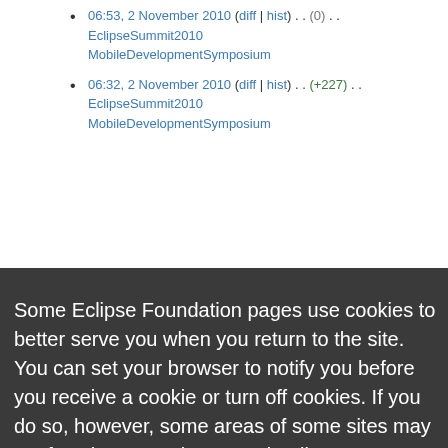06:53, 2 November 2010 (diff | hist) . . (0) . . EclipseSummit2010 MobileDevelopmentSymposium
06:32, 2 November 2010 (diff | hist) . . (+227) . . EclipseSummit2010 MobileDevelopmentSymposium
Some Eclipse Foundation pages use cookies to better serve you when you return to the site. You can set your browser to notify you before you receive a cookie or turn off cookies. If you do so, however, some areas of some sites may not function properly. To read Eclipse Foundation Privacy Policy
click here.
Decline
Allow cookies
EclipseSummit2010